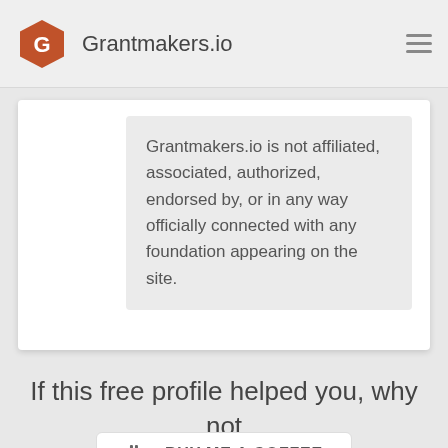Grantmakers.io
Grantmakers.io is not affiliated, associated, authorized, endorsed by, or in any way officially connected with any foundation appearing on the site.
If this free profile helped you, why not
BUY ME A COFFEE